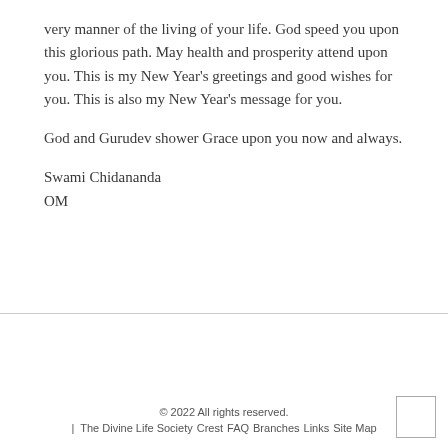very manner of the living of your life. God speed you upon this glorious path. May health and prosperity attend upon you. This is my New Year's greetings and good wishes for you. This is also my New Year's message for you.
God and Gurudev shower Grace upon you now and always.
Swami Chidananda
OM
© 2022 All rights reserved.
| The Divine Life Society   Crest   FAQ   Branches   Links   Site Map